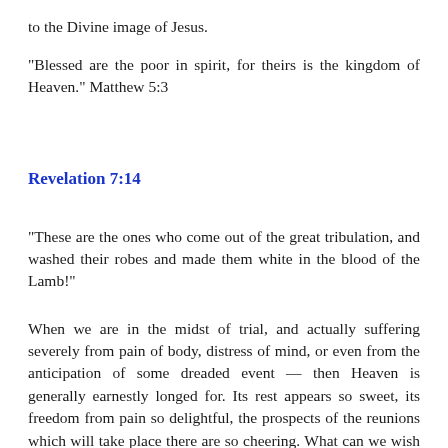to the Divine image of Jesus.
"Blessed are the poor in spirit, for theirs is the kingdom of Heaven." Matthew 5:3
Revelation 7:14
"These are the ones who come out of the great tribulation, and washed their robes and made them white in the blood of the Lamb!"
When we are in the midst of trial, and actually suffering severely from pain of body, distress of mind, or even from the anticipation of some dreaded event — then Heaven is generally earnestly longed for. Its rest appears so sweet, its freedom from pain so delightful, the prospects of the reunions which will take place there are so cheering. What can we wish for